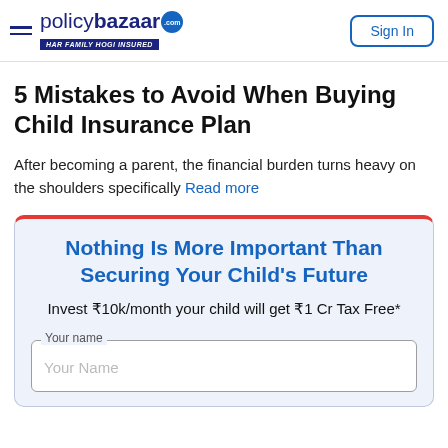policybazaar | HAR FAMILY HOGI INSURED | Sign In
5 Mistakes to Avoid When Buying Child Insurance Plan
After becoming a parent, the financial burden turns heavy on the shoulders specifically Read more
Nothing Is More Important Than Securing Your Child's Future
Invest ₹10k/month your child will get ₹1 Cr Tax Free*
Your name — Your Name